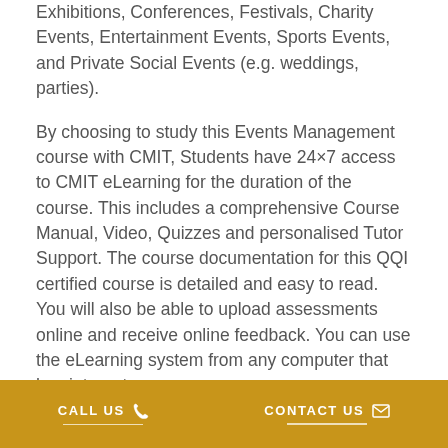Exhibitions, Conferences, Festivals, Charity Events, Entertainment Events, Sports Events, and Private Social Events (e.g. weddings, parties).
By choosing to study this Events Management course with CMIT, Students have 24×7 access to CMIT eLearning for the duration of the course. This includes a comprehensive Course Manual, Video, Quizzes and personalised Tutor Support. The course documentation for this QQI certified course is detailed and easy to read. You will also be able to upload assessments online and receive online feedback. You can use the eLearning system from any computer that has internet access.
Who should complete this Events
CALL US   CONTACT US